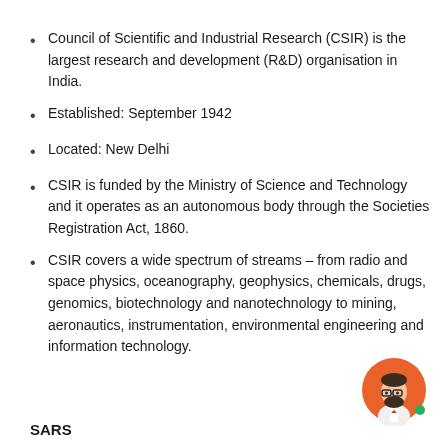Council of Scientific and Industrial Research (CSIR) is the largest research and development (R&D) organisation in India.
Established: September 1942
Located: New Delhi
CSIR is funded by the Ministry of Science and Technology and it operates as an autonomous body through the Societies Registration Act, 1860.
CSIR covers a wide spectrum of streams – from radio and space physics, oceanography, geophysics, chemicals, drugs, genomics, biotechnology and nanotechnology to mining, aeronautics, instrumentation, environmental engineering and information technology.
[Figure (illustration): Cartoon avatar of a bearded man with glasses wearing a white shirt, set against an orange circular background with a green dot indicator.]
SARS